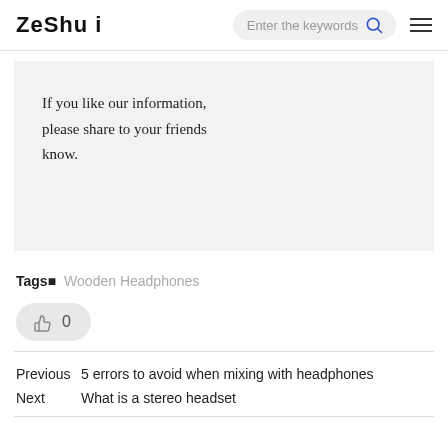ZeShu i
If you like our information, please share to your friends know.
Tags■  Wooden Headphones
[Figure (other): Like/thumbs-up button with count 0]
Previous  5 errors to avoid when mixing with headphones
Next  What is a stereo headset